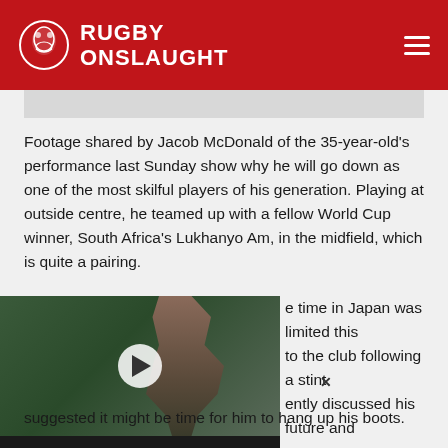RUGBY ONSLAUGHT
Footage shared by Jacob McDonald of the 35-year-old's performance last Sunday show why he will go down as one of the most skilful players of his generation. Playing at outside centre, he teamed up with a fellow World Cup winner, South Africa's Lukhanyo Am, in the midfield, which is quite a pairing.
[Figure (photo): Video thumbnail showing a rugby player, with play button overlay. Label reads 'THE SEASON - ST JOSEPH'S COLLEGE NUDGEE - EPISODE 5']
time in Japan was limited this to the club following a stint ently discussed his future and suggested it might be time for him to hang up his boots.